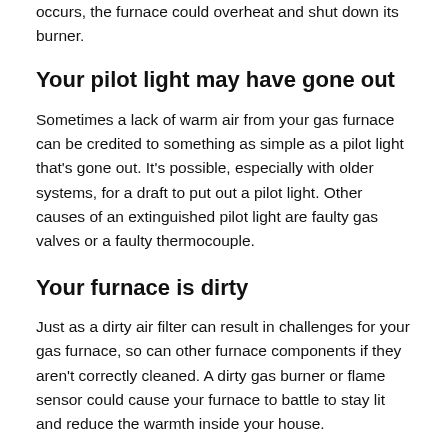occurs, the furnace could overheat and shut down its burner.
Your pilot light may have gone out
Sometimes a lack of warm air from your gas furnace can be credited to something as simple as a pilot light that's gone out. It's possible, especially with older systems, for a draft to put out a pilot light. Other causes of an extinguished pilot light are faulty gas valves or a faulty thermocouple.
Your furnace is dirty
Just as a dirty air filter can result in challenges for your gas furnace, so can other furnace components if they aren't correctly cleaned. A dirty gas burner or flame sensor could cause your furnace to battle to stay lit and reduce the warmth inside your house.